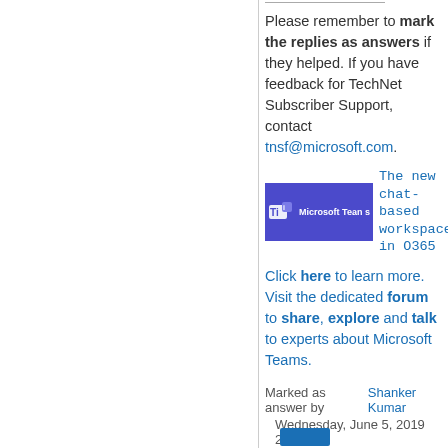Please remember to mark the replies as answers if they helped. If you have feedback for TechNet Subscriber Support, contact tnsf@microsoft.com.
[Figure (logo): Microsoft Teams logo banner with tagline: The new chat-based workspace in O365]
Click here to learn more. Visit the dedicated forum to share, explore and talk to experts about Microsoft Teams.
Marked as answer by  Shanker Kumar  Wednesday, June 5, 2019 2:06 PM
Wednesday, June 5, 2019 1:54 AM